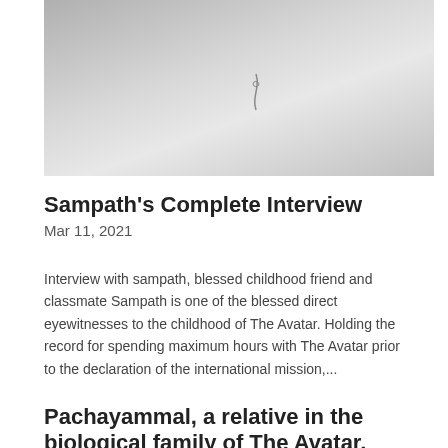[Figure (photo): Grayscale photo with light gray abstract background, possibly a close-up of a surface or fabric with a faint mark or clip visible]
Sampath’s Complete Interview
Mar 11, 2021
Interview with sampath, blessed childhood friend and classmate Sampath is one of the blessed direct eyewitnesses to the childhood of The Avatar. Holding the record for spending maximum hours with The Avatar prior to the declaration of the international mission,...
Pachayammal, a relative in the biological family of The Avatar, recalls The Avatar’s love for puja